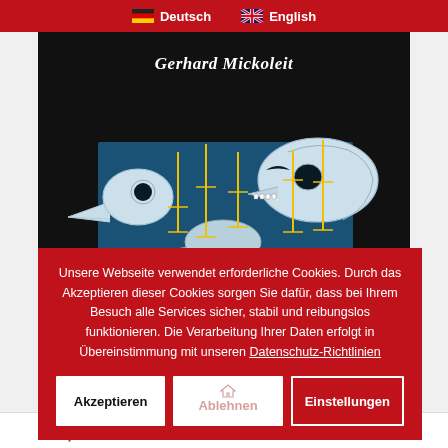Deutsch | English
[Figure (illustration): Book cover showing animal skulls (bird, mammal, reptile) on dark background with blue panel and yellow measurement lines. Author: Gerhard Mickoleit]
Unsere Webseite verwendet erforderliche Cookies. Durch das Akzeptieren dieser Cookies sorgen Sie dafür, dass bei Ihrem Besuch alle Services sicher, stabil und reibungslos funktionieren. Die Verarbeitung Ihrer Daten erfolgt in Übereinstimmung mit unseren Datenschutz-Richtlinien
Akzeptieren | Ablehnen | Einstellungen
98,00 €